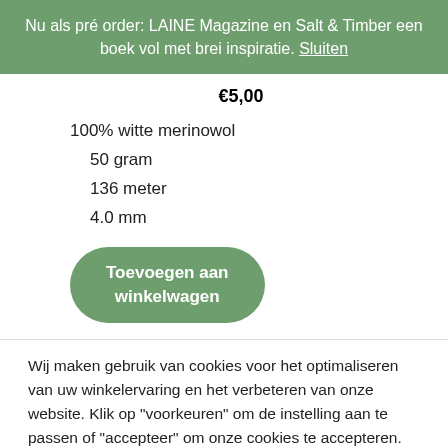Nu als pré order: LAINE Magazine en Salt & Timber een boek vol met brei inspiratie. Sluiten
€5,00
100% witte merinowol
50 gram
136 meter
4.0 mm
Toevoegen aan winkelwagen
Wij maken gebruik van cookies voor het optimaliseren van uw winkelervaring en het verbeteren van onze website. Klik op "voorkeuren" om de instelling aan te passen of "accepteer" om onze cookies te accepteren.
Voorkeuren
Accepteer